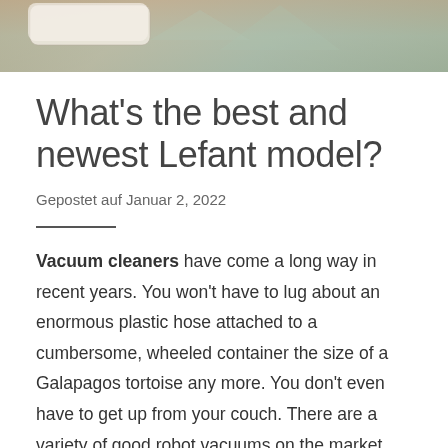[Figure (photo): Top portion of a product image showing what appears to be a robot vacuum cleaner on a wooden floor surface with light-colored geometric shapes in the background.]
What's the best and newest Lefant model?
Gepostet auf Januar 2, 2022
Vacuum cleaners have come a long way in recent years. You won't have to lug about an enormous plastic hose attached to a cumbersome, wheeled container the size of a Galapagos tortoise any more. You don't even have to get up from your couch. There are a variety of good robot vacuums on the market that